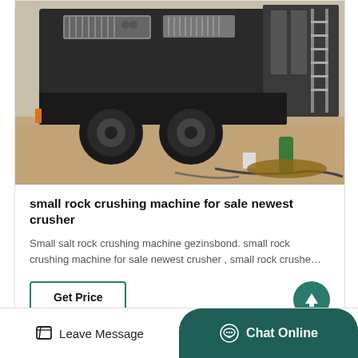[Figure (photo): A mobile rock crushing machine on a job site, showing large tires, machinery components, hoses, and equipment on a gravel/dirt surface.]
small rock crushing machine for sale newest crusher
Small salt rock crushing machine gezinsbond. small rock crushing machine for sale newest crusher , small rock crushe…
Get Price
Leave Message   Chat Online